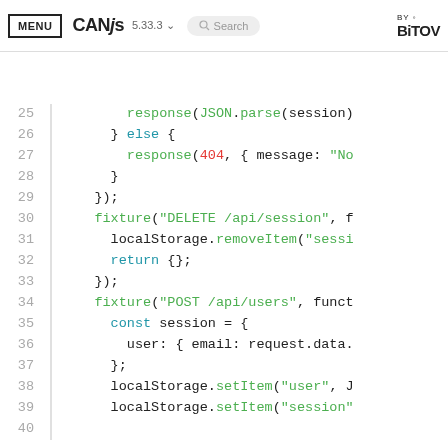MENU | CanJS 5.33.3 | Search | BY BITOVI
[Figure (screenshot): Code editor screenshot showing JavaScript code lines 25-40 with syntax highlighting. Lines show fixture functions for DELETE and POST /api endpoints, localStorage operations, and JSON handling.]